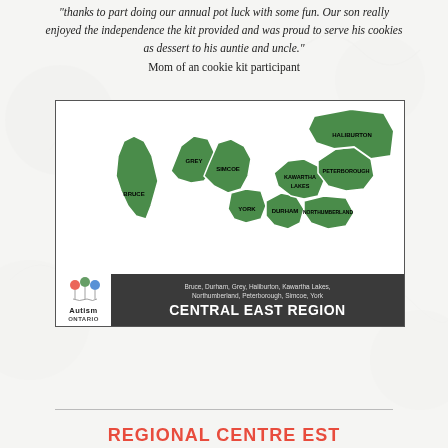"thanks to part doing our annual pot luck with some fun. Our son really enjoyed the independence the kit provided and was proud to serve his cookies as dessert to his auntie and uncle." Mom of an cookie kit participant
[Figure (map): Map of Ontario's Central East Region showing counties: Bruce, Durham, Grey, Haliburton, Kawartha Lakes, Northumberland, Peterborough, Simcoe, York. Green shaded regions on white background with Autism Ontario logo and 'CENTRAL EAST REGION' label.]
CENTRAL EAST REGION